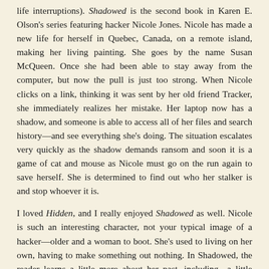life interruptions). Shadowed is the second book in Karen E. Olson's series featuring hacker Nicole Jones. Nicole has made a new life for herself in Quebec, Canada, on a remote island, making her living painting. She goes by the name Susan McQueen. Once she had been able to stay away from the computer, but now the pull is just too strong. When Nicole clicks on a link, thinking it was sent by her old friend Tracker, she immediately realizes her mistake. Her laptop now has a shadow, and someone is able to access all of her files and search history—and see everything she's doing. The situation escalates very quickly as the shadow demands ransom and soon it is a game of cat and mouse as Nicole must go on the run again to save herself. She is determined to find out who her stalker is and stop whoever it is.
I loved Hidden, and I really enjoyed Shadowed as well. Nicole is such an interesting character, not your typical image of a hacker—older and a woman to boot. She's used to living on her own, having to make something out nothing. In Shadowed, the reader learns a little more about her past, including a little about her relationship with her father. And also Tracker, a man she only knows through the computer, who she counts as her friend, and who has a continuing role